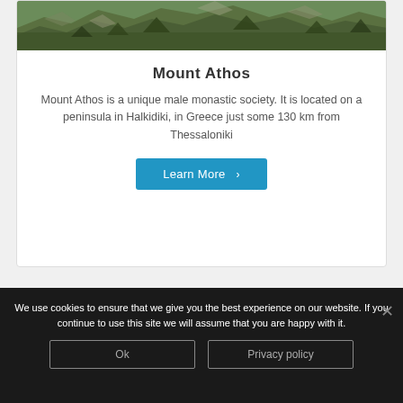[Figure (photo): Aerial/landscape photo of rocky forested hillside or mountain, green vegetation and rocky outcrops visible]
Mount Athos
Mount Athos is a unique male monastic society. It is located on a peninsula in Halkidiki, in Greece just some 130 km from Thessaloniki
Learn More ›
We use cookies to ensure that we give you the best experience on our website. If you continue to use this site we will assume that you are happy with it.
Ok
Privacy policy